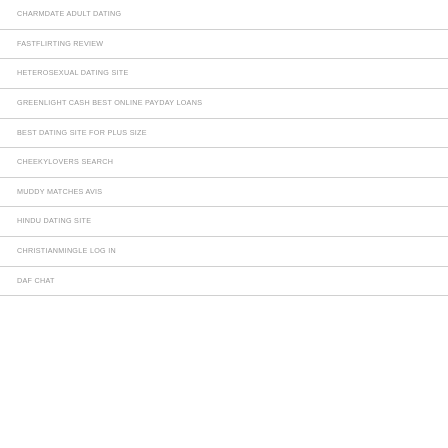CHARMDATE ADULT DATING
FASTFLIRTING REVIEW
HETEROSEXUAL DATING SITE
GREENLIGHT CASH BEST ONLINE PAYDAY LOANS
BEST DATING SITE FOR PLUS SIZE
CHEEKYLOVERS SEARCH
MUDDY MATCHES AVIS
HINDU DATING SITE
CHRISTIANMINGLE LOG IN
DAF CHAT